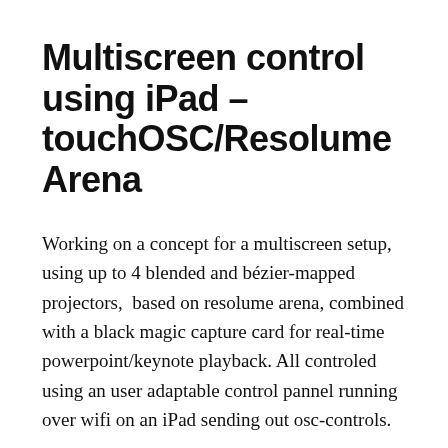Multiscreen control using iPad – touchOSC/Resolume Arena
Working on a concept for a multiscreen setup, using up to 4 blended and bézier-mapped projectors,  based on resolume arena, combined with a black magic capture card for real-time powerpoint/keynote playback. All controled using an user adaptable control pannel running over wifi on an iPad sending out osc-controls.